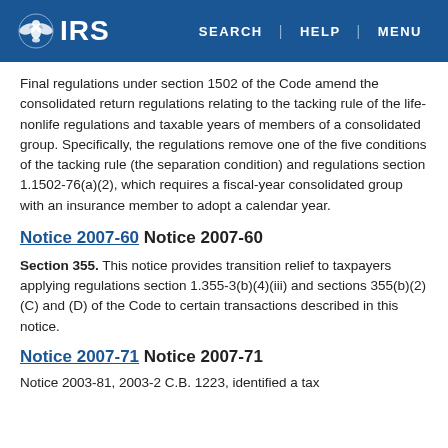IRS | SEARCH | HELP | MENU
Final regulations under section 1502 of the Code amend the consolidated return regulations relating to the tacking rule of the life-nonlife regulations and taxable years of members of a consolidated group. Specifically, the regulations remove one of the five conditions of the tacking rule (the separation condition) and regulations section 1.1502-76(a)(2), which requires a fiscal-year consolidated group with an insurance member to adopt a calendar year.
Notice 2007-60 Notice 2007-60
Section 355. This notice provides transition relief to taxpayers applying regulations section 1.355-3(b)(4)(iii) and sections 355(b)(2)(C) and (D) of the Code to certain transactions described in this notice.
Notice 2007-71 Notice 2007-71
Notice 2003-81, 2003-2 C.B. 1223, identified a tax